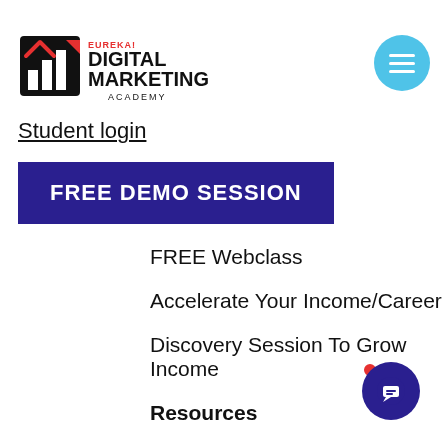[Figure (logo): Eureka! Digital Marketing Academy logo with icon and text]
Student login
FREE DEMO SESSION
FREE Webclass
Accelerate Your Income/Career
Discovery Session To Grow Income
Resources
Blog
About Trainer